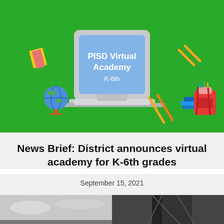[Figure (illustration): Green banner with a laptop showing 'PISD Virtual Academy K-6th' on screen, surrounded by school supply icons including books, pencils, a globe, and a backpack.]
News Brief: District announces virtual academy for K-6th grades
September 15, 2021
[Figure (photo): Two-panel black and white photo at the bottom of the page.]